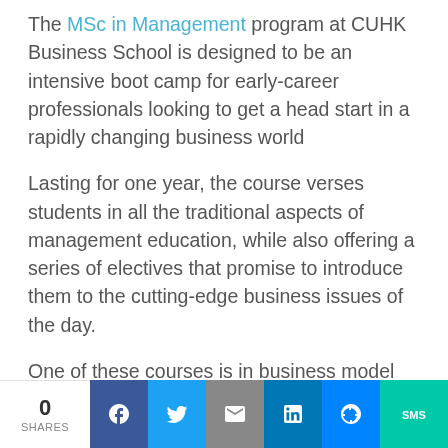The MSc in Management program at CUHK Business School is designed to be an intensive boot camp for early-career professionals looking to get a head start in a rapidly changing business world
Lasting for one year, the course verses students in all the traditional aspects of management education, while also offering a series of electives that promise to introduce them to the cutting-edge business issues of the day.
One of these courses is in business model
0 SHARES | Facebook | Twitter | Email | LinkedIn | Messenger | SMS